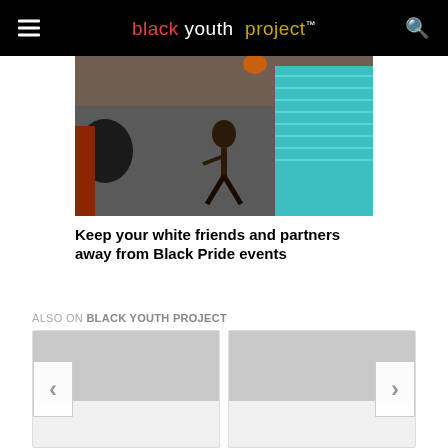black youth project™
[Figure (photo): People gathered in a circle watching a dancer perform on a dark pavement surface; a person in a cyan/teal striped shirt is visible on the right side]
Keep your white friends and partners away from Black Pride events
ALSO ON BLACK YOUTH PROJECT
[Figure (screenshot): Two article preview cards side by side with navigation arrows (left chevron and right chevron) for a carousel widget under 'Also on Black Youth Project']